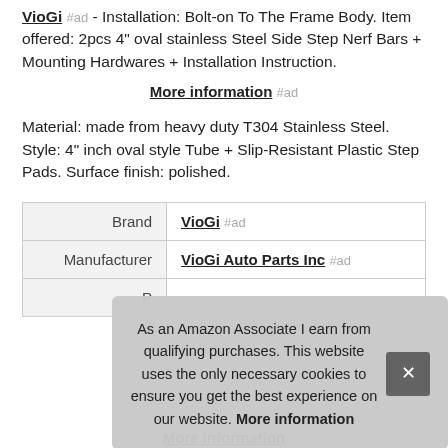VioGi #ad - Installation: Bolt-on To The Frame Body. Item offered: 2pcs 4" oval stainless Steel Side Step Nerf Bars + Mounting Hardwares + Installation Instruction.
More information #ad
Material: made from heavy duty T304 Stainless Steel. Style: 4" inch oval style Tube + Slip-Resistant Plastic Step Pads. Surface finish: polished.
| Brand | VioGi #ad |
| Manufacturer | VioGi Auto Parts Inc #ad |
| P |  |
As an Amazon Associate I earn from qualifying purchases. This website uses the only necessary cookies to ensure you get the best experience on our website. More information
More information